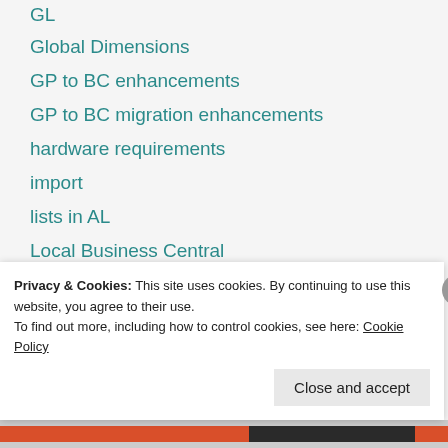GL
Global Dimensions
GP to BC enhancements
GP to BC migration enhancements
hardware requirements
import
lists in AL
Local Business Central
login with service principal
MR-800
Privacy & Cookies: This site uses cookies. By continuing to use this website, you agree to their use.
To find out more, including how to control cookies, see here: Cookie Policy
Close and accept